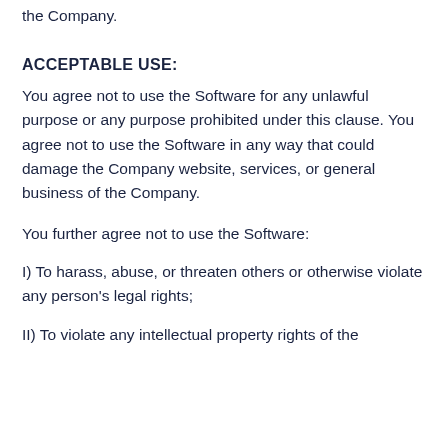the Company.
ACCEPTABLE USE:
You agree not to use the Software for any unlawful purpose or any purpose prohibited under this clause. You agree not to use the Software in any way that could damage the Company website, services, or general business of the Company.
You further agree not to use the Software:
I) To harass, abuse, or threaten others or otherwise violate any person's legal rights;
II) To violate any intellectual property rights of the